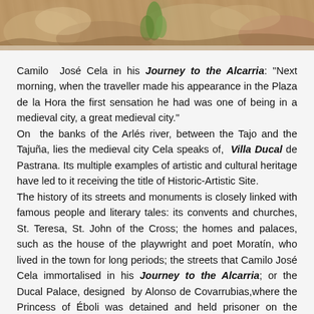[Figure (photo): Top portion of a photograph showing stone ruins or rocky terrain with some vegetation, likely archaeological site related to Pastrana.]
Camilo José Cela in his Journey to the Alcarria: "Next morning, when the traveller made his appearance in the Plaza de la Hora the first sensation he had was one of being in a medieval city, a great medieval city."
On the banks of the Arlés river, between the Tajo and the Tajuña, lies the medieval city Cela speaks of, Villa Ducal de Pastrana. Its multiple examples of artistic and cultural heritage have led to it receiving the title of Historic-Artistic Site.
The history of its streets and monuments is closely linked with famous people and literary tales: its convents and churches, St. Teresa, St. John of the Cross; the homes and palaces, such as the house of the playwright and poet Moratín, who lived in the town for long periods; the streets that Camilo José Cela immortalised in his Journey to the Alcarria; or the Ducal Palace, designed by Alonso de Covarrubias,where the Princess of Éboli was detained and held prisoner on the orders of Philip II.
Cela continues: "The Plaza de la Hora is a square, large, uncluttered and airy."
The square is governed by the imposing, Renaissance-style Ducal Palace, abundant in mannerist elements. It retains some marvellous coffered ceilings designed by Alonso de Covarrubias, in Plateresque style. The Toledo, Mudejar-style tile shutter boards are also noteworthy. Princess of